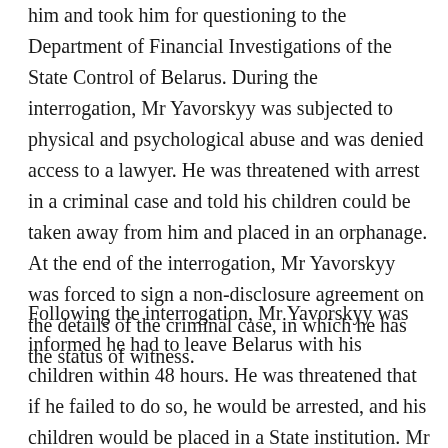him and took him for questioning to the Department of Financial Investigations of the State Control of Belarus. During the interrogation, Mr Yavorskyy was subjected to physical and psychological abuse and was denied access to a lawyer. He was threatened with arrest in a criminal case and told his children could be taken away from him and placed in an orphanage. At the end of the interrogation, Mr Yavorskyy was forced to sign a non-disclosure agreement on the details of the criminal case, in which he has the status of witness.
Following the interrogation, Mr Yavorskyy was informed he had to leave Belarus with his children within 48 hours. He was threatened that if he failed to do so, he would be arrested, and his children would be placed in a State institution. Mr Yavorskyy was also informed that he was banned from re-entering Belarus for 10 years without any further explanation